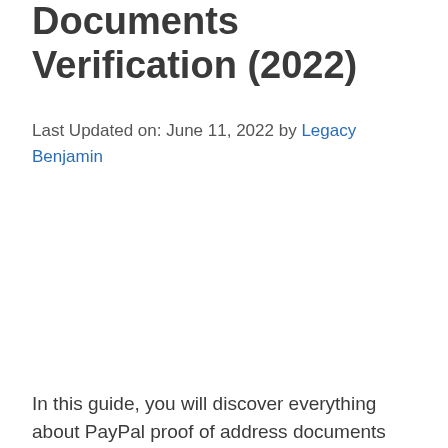Documents Verification (2022)
Last Updated on: June 11, 2022 by Legacy Benjamin
In this guide, you will discover everything about PayPal proof of address documents